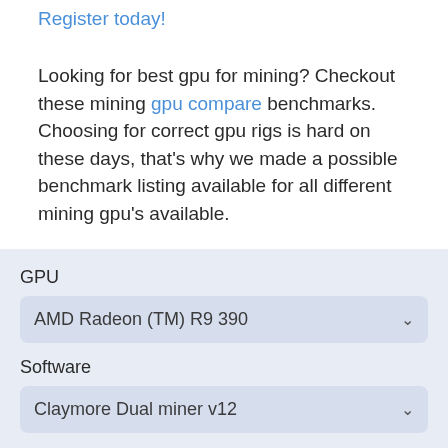Register today!
Looking for best gpu for mining? Checkout these mining gpu compare benchmarks. Choosing for correct gpu rigs is hard on these days, that's why we made a possible benchmark listing available for all different mining gpu's available.
GPU
AMD Radeon (TM) R9 390
Software
Claymore Dual miner v12
ALGO
x16rv2